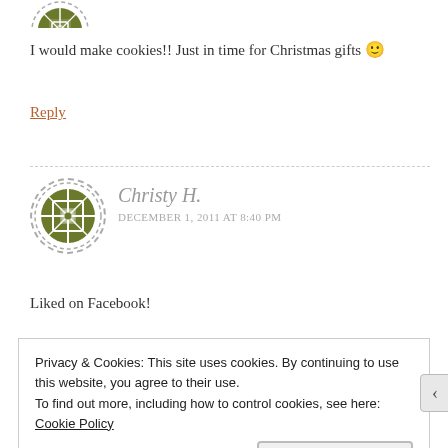[Figure (illustration): Partial avatar icon at top of page, cropped circle with green pattern]
I would make cookies!! Just in time for Christmas gifts 🙂
Reply
[Figure (illustration): Circular avatar with green crosshatch/quilt pattern, dashed border]
Christy H.
DECEMBER 1, 2011 AT 8:40 PM
Liked on Facebook!
Privacy & Cookies: This site uses cookies. By continuing to use this website, you agree to their use.
To find out more, including how to control cookies, see here: Cookie Policy
Close and accept